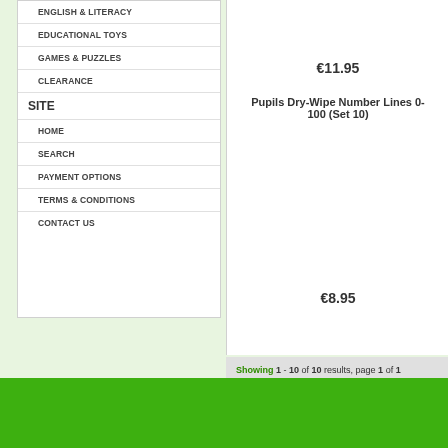ENGLISH & LITERACY
EDUCATIONAL TOYS
GAMES & PUZZLES
CLEARANCE
SITE
HOME
SEARCH
PAYMENT OPTIONS
TERMS & CONDITIONS
CONTACT US
€11.95
Pupils Dry-Wipe Number Lines 0-100 (Set 10)
€8.95
Showing 1 - 10 of 10 results, page 1 of 1